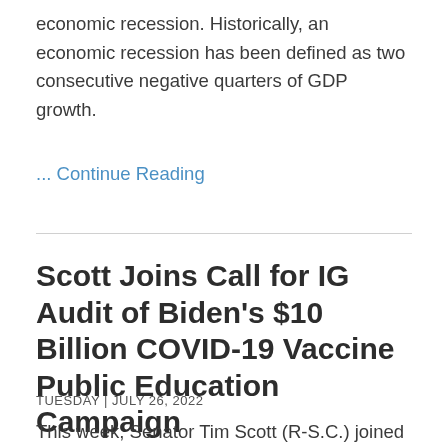economic recession. Historically, an economic recession has been defined as two consecutive negative quarters of GDP growth.
… Continue Reading
Scott Joins Call for IG Audit of Biden's $10 Billion COVID-19 Vaccine Public Education Campaign
TUESDAY | JULY 26, 2022
This week, Senator Tim Scott (R-S.C.) joined Senator Richard Burr (R-N.C.) and several other Republican